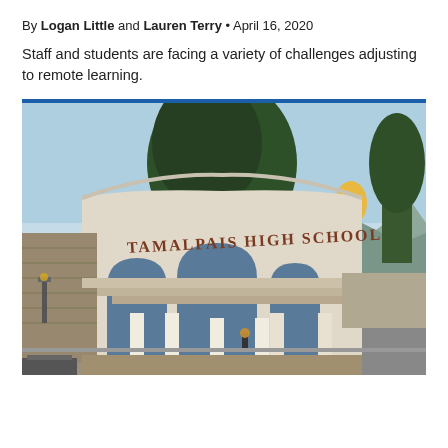By Logan Little and Lauren Terry • April 16, 2020
Staff and students are facing a variety of challenges adjusting to remote learning.
[Figure (photo): Photograph of the Tamalpais High School entrance arch, a white stucco structure with three arched openings and the school name in ornamental lettering, with trees and mountains in the background.]